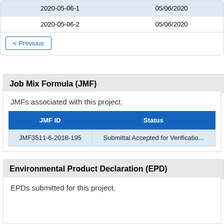|  |  |
| --- | --- |
| 2020-05-06-1 | 05/06/2020 |
| 2020-05-06-2 | 05/06/2020 |
< Previous
Job Mix Formula (JMF)
JMFs associated with this project.
| JMF ID | Status |
| --- | --- |
| JMF3511-6-2018-195 | Submittal Accepted for Verification |
Environmental Product Declaration (EPD)
EPDs submitted for this project.